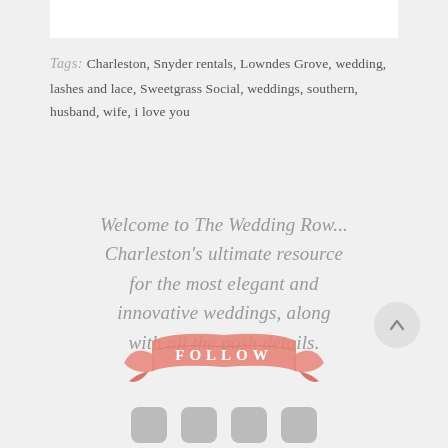Tags: Charleston, Snyder rentals, Lowndes Grove, wedding, lashes and lace, Sweetgrass Social, weddings, southern, husband, wife, i love you
Welcome to The Wedding Row... Charleston's ultimate resource for the most elegant and innovative weddings, along with all the posh details.
[Figure (illustration): A watercolor-style pink/coral ribbon banner with the word FOLLOW written in white letters across the center.]
[Figure (illustration): Four social media icon buttons (Facebook, Twitter/X, Instagram, another) shown as rounded gray squares at the bottom of the page.]